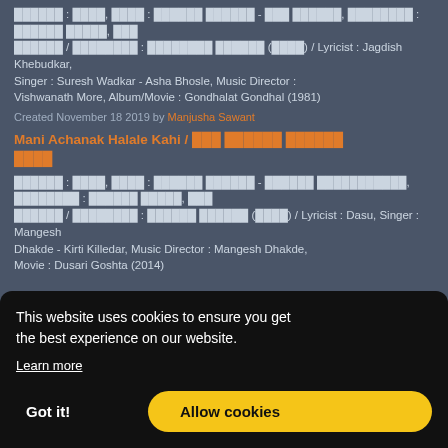... : ..., ... : ...... ...... - ... ......, .......... : ...... ......, ... ...... / ......... : ........ ...... (....) / Lyricist : Jagdish Khebudkar, Singer : Suresh Wadkar - Asha Bhosle, Music Director : Vishwanath More, Album/Movie : Gondhalat Gondhal (1981)
Created November 18 2019 by Manjusha Sawant
Mani Achanak Halale Kahi / मणी अचानक हलाले काही
गीतकार : दासु, गायक : मंगेश ढाकडे - कीर्ती किल्लेदार, संगीतकार : मंगेश ढाकडे, चित्र / अल्बम : दुसरी गोष्ट (२०१४) / Lyricist : Dasu, Singer : Mangesh Dhakde - Kirti Killedar, Music Director : Mangesh Dhakde, Movie : Dusari Goshta (2014)
This website uses cookies to ensure you get the best experience on our website. Learn more
Got it! | Allow cookies